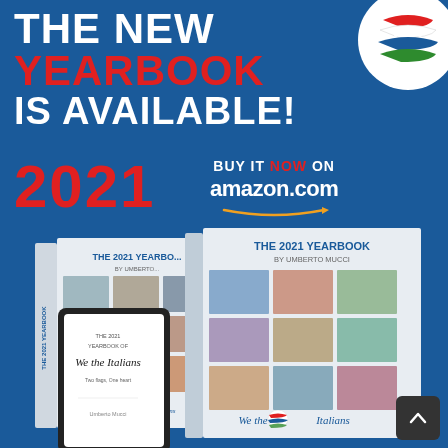[Figure (infographic): Promotional advertisement for The 2021 Yearbook by Umberto Mucci on a blue background. Shows headline text, year 2021, buy on amazon.com call to action, and images of the book (front and back cover showing collage of people photos titled 'We the Italians'), a tablet/e-reader version, and a circular logo with Italian-American flag design in top right corner.]
THE NEW YEARBOOK IS AVAILABLE!
2021
BUY IT NOW ON amazon.com